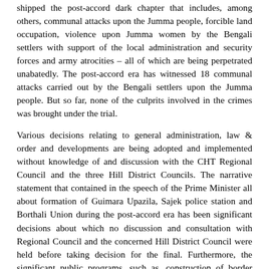shipped the post-accord dark chapter that includes, among others, communal attacks upon the Jumma people, forcible land occupation, violence upon Jumma women by the Bengali settlers with support of the local administration and security forces and army atrocities – all of which are being perpetrated unabatedly. The post-accord era has witnessed 18 communal attacks carried out by the Bengali settlers upon the Jumma people. But so far, none of the culprits involved in the crimes was brought under the trial.
Various decisions relating to general administration, law & order and developments are being adopted and implemented without knowledge of and discussion with the CHT Regional Council and the three Hill District Councils. The narrative statement that contained in the speech of the Prime Minister all about formation of Guimara Upazila, Sajek police station and Borthali Union during the post-accord era has been significant decisions about which no discussion and consultation with Regional Council and the concerned Hill District Council were held before taking decision for the final. Furthermore, the significant public programs, such as, construction of border roads and land-port, establishment of luxurious tourist centers under local army authorities and Tourism Corporation, declaration of reserved and protected forests, establishment of BOPs of Boarder Guard Bangladesh (BGB), etc. are being constructed without having discussion and consultation with the Regional Council and Hill